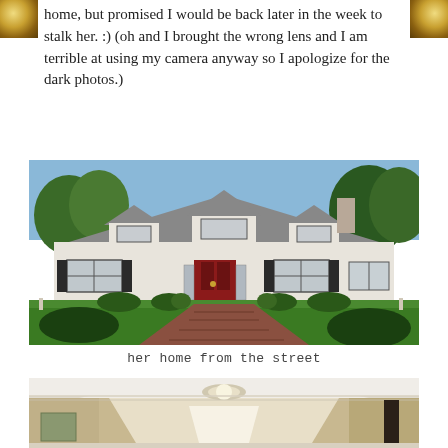home, but promised I would be back later in the week to stalk her. :) (oh and I brought the wrong lens and I am terrible at using my camera anyway so I apologize for the dark photos.)
[Figure (photo): Exterior photo of a white Cape Cod style ranch home with dark shutters, a red front door, dormer windows, green lawn, and a brick pathway leading to the entrance. Trees visible in the background.]
her home from the street
[Figure (photo): Interior photo of a hallway with warm beige/tan walls, white crown molding, a flush mount ceiling light fixture, and a framed artwork partially visible on the left wall. Natural light comes from a window or door at the end of the hallway.]